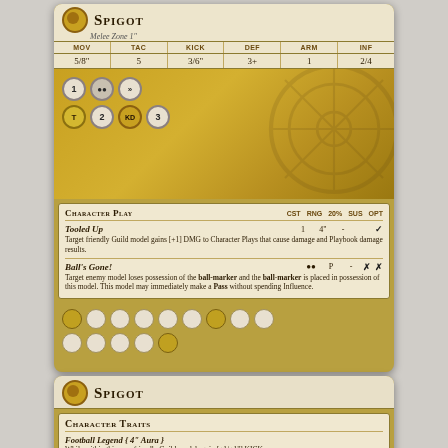[Figure (other): Top game card for Spigot character showing stats, character plays, and art of a steampunk-styled footballer]
Spigot
Melee Zone 1"
| MOV | TAC | KICK | DEF | ARM | INF |
| --- | --- | --- | --- | --- | --- |
| 5'/8" | 5 | 3/6" | 3+ | 1 | 2/4 |
Character Play
Tooled Up | 1 | 4" | - | ✓
Target friendly Guild model gains [+1] DMG to Character Plays that cause damage and Playbook damage results.
Ball's Gone! | ●● | P | - | ✗ | ✗
Target enemy model loses possession of the ball-marker and the ball-marker is placed in possession of this model. This model may immediately make a Pass without spending Influence.
[Figure (other): Bottom game card for Spigot showing Character Traits including Football Legend and Floored]
Spigot
Character Traits
Football Legend { 4" Aura }
While within this aura friendly Guild models gain [+1/+1"] KICK.
Floored
When this model targets an enemy model that is suffering from the knocked-down condition with an Attack, this model gains [+2] TAC for the duration of